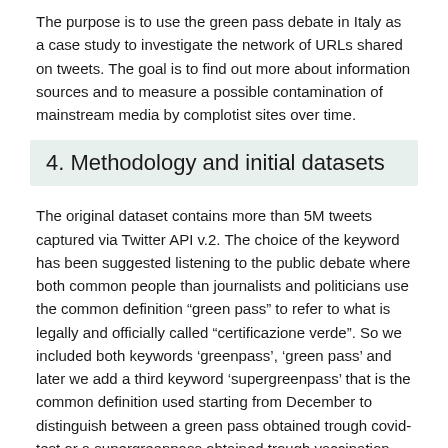The purpose is to use the green pass debate in Italy as a case study to investigate the network of URLs shared on tweets. The goal is to find out more about information sources and to measure a possible contamination of mainstream media by complotist sites over time.
4. Methodology and initial datasets
The original dataset contains more than 5M tweets captured via Twitter API v.2. The choice of the keyword has been suggested listening to the public debate where both common people than journalists and politicians use the common definition “green pass” to refer to what is legally and officially called “certificazione verde”. So we included both keywords ‘greenpass’, ‘green pass’ and later we add a third keyword ‘supergreenpass’ that is the common definition used starting from December to distinguish between a green pass obtained trough covid-test or a supergreenpass obtained trough vaccination. The period we focused on starts from June 15th to December 14th 2021. This period allowed to monitor the initial raise of the debate in the platform (the green pass has been announced on July 22nd) and also peaks of discussion around